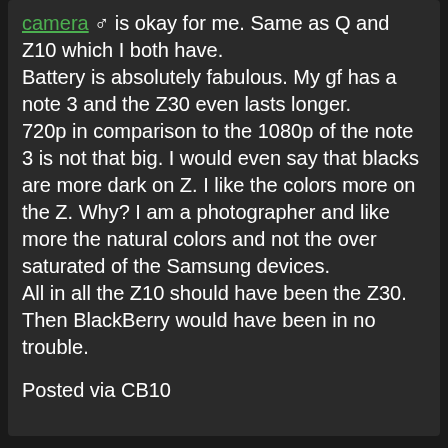camera is okay for me. Same as Q and Z10 which I both have.
Battery is absolutely fabulous. My gf has a note 3 and the Z30 even lasts longer.
720p in comparison to the 1080p of the note 3 is not that big. I would even say that blacks are more dark on Z. I like the colors more on the Z. Why? I am a photographer and like more the natural colors and not the over saturated of the Samsung devices.
All in all the Z10 should have been the Z30. Then BlackBerry would have been in no trouble.

Posted via CB10
And I say that it's not about the device but more about the os.
If BlackBerry launched bb10 with the features of 10.2, the sales would have been double. I wouldn't go has far as saying they had be out of the hot water but things would have been way